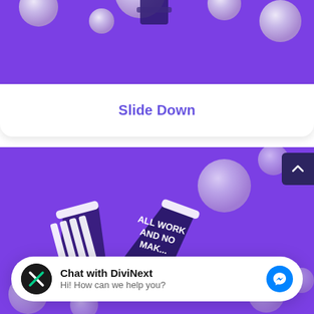[Figure (illustration): Purple background section at top with white spherical balls floating, showing bottom portion of a scene with cups]
Slide Down
[Figure (illustration): Purple background with floating white spheres and two paper cups - one labeled VOID with stripes, another labeled ALL WORK AND NO (truncated). Scroll-to-top arrow button in top right corner.]
Chat with DiviNext
Hi! How can we help you?